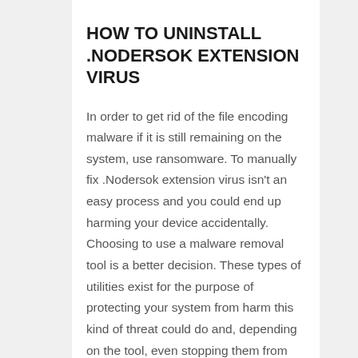HOW TO UNINSTALL .NODERSOK EXTENSION VIRUS
In order to get rid of the file encoding malware if it is still remaining on the system, use ransomware. To manually fix .Nodersok extension virus isn't an easy process and you could end up harming your device accidentally. Choosing to use a malware removal tool is a better decision. These types of utilities exist for the purpose of protecting your system from harm this kind of threat could do and, depending on the tool, even stopping them from infecting in the first place. Find which anti-malware software is most suitable for you, install it